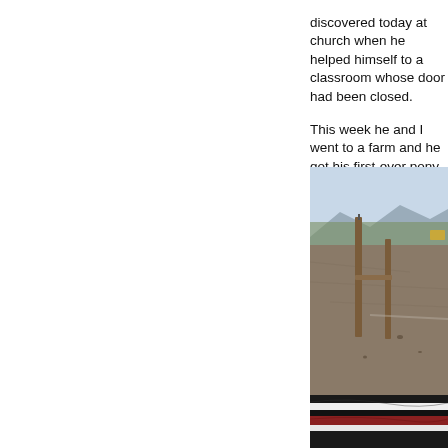discovered today at church when he helped himself to a classroom whose door had been closed.

This week he and I went to a farm and he got his first-ever pony ride.
[Figure (photo): Outdoor farm scene with a wooden fence post in sandy/dirt ground, trees in the background, mountains in the distance under a pale sky. In the foreground, the striped mane of a horse or pony (black, white, and red/dark stripes) is visible.]